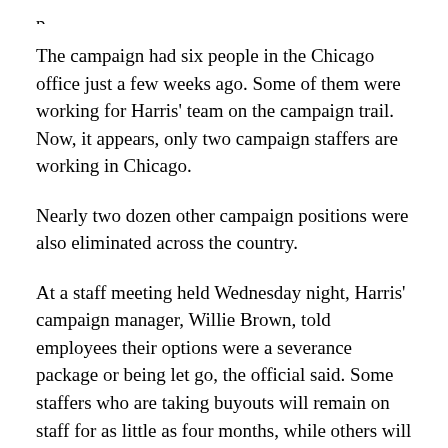The campaign had six people in the Chicago office just a few weeks ago. Some of them were working for Harris' team on the campaign trail. Now, it appears, only two campaign staffers are working in Chicago.
Nearly two dozen other campaign positions were also eliminated across the country.
At a staff meeting held Wednesday night, Harris' campaign manager, Willie Brown, told employees their options were a severance package or being let go, the official said. Some staffers who are taking buyouts will remain on staff for as little as four months, while others will be fired.
Though Brown did not give a time frame for the dismissals, he did tell employees the cuts were “based on…”